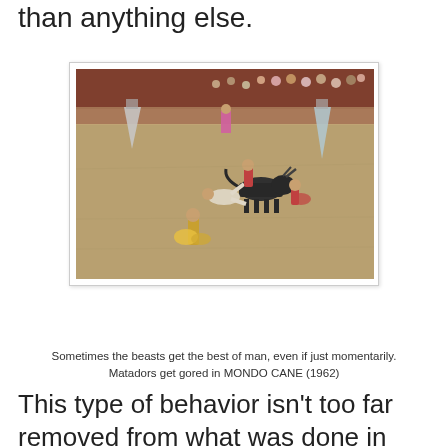than anything else.
[Figure (photo): A bullfighting arena scene showing matadors and a bull in the ring, with spectators visible in the background. One matador appears to be knocked down. From the film MONDO CANE (1962).]
Sometimes the beasts get the best of man, even if just momentarily. Matadors get gored in MONDO CANE (1962)
This type of behavior isn't too far removed from what was done in these Italian movies from the 60's and 70's. The only technical difference is that one was done for